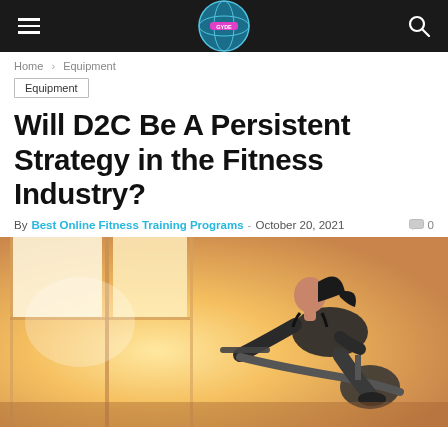Navigation bar with hamburger menu, site logo, and search icon
Home › Equipment
Equipment
Will D2C Be A Persistent Strategy in the Fitness Industry?
By Best Online Fitness Training Programs - October 20, 2021  0
[Figure (photo): Woman riding a stationary exercise bike indoors near large windows with bright sunlight coming in from outside]